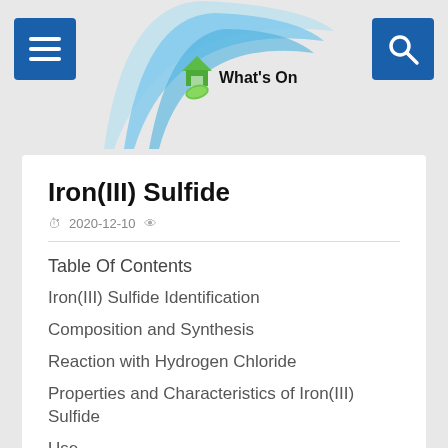[Figure (logo): Website header with blue swoosh arc design, house/leaf icon and 'What's On' text, hamburger menu button on left, search (magnifying glass) button on right]
Iron(III) Sulfide
2020-12-10
Table Of Contents
Iron(III) Sulfide Identification
Composition and Synthesis
Reaction with Hydrogen Chloride
Properties and Characteristics of Iron(III) Sulfide
Use
Iron(iii) sulfide also called ferric sulfide or iron sesquisulfide is one of the members of iron(3 )